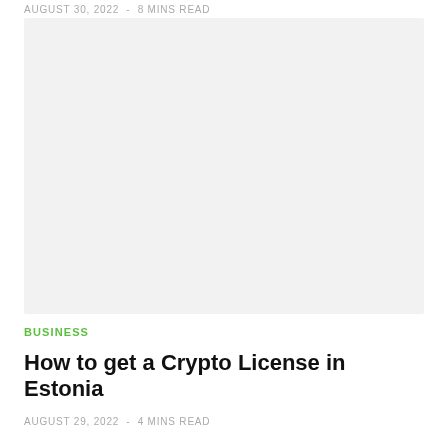AUGUST 30, 2022  -  8 MINS READ
[Figure (photo): Light gray placeholder image block for an article about crypto licensing in Estonia]
BUSINESS
How to get a Crypto License in Estonia
AUGUST 29, 2022  -  4 MINS READ